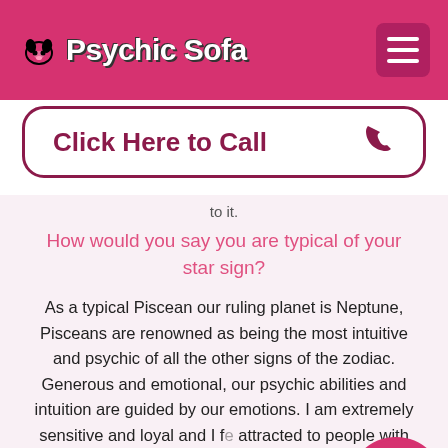Psychic Sofa
Click Here to Call
to it.
How would you say you are typical of your star sign?
As a typical Piscean our ruling planet is Neptune, Pisceans are renowned as being the most intuitive and psychic of all the other signs of the zodiac. Generous and emotional, our psychic abilities and intuition are guided by our emotions. I am extremely sensitive and loyal and I fe attracted to people with severe problems who desperately need help. I am there to guidance and support. I am so empathic that my
[Figure (illustration): Cartoon avatar of a woman with dark hair in a circular badge, positioned bottom-right]